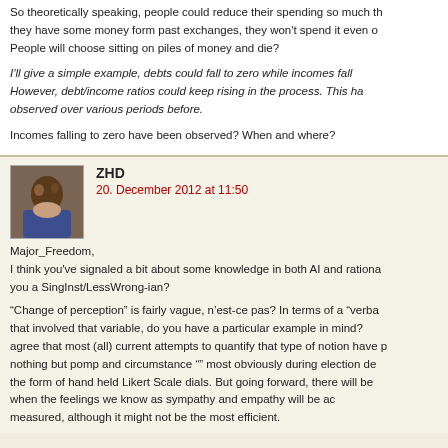So theoretically speaking, people could reduce their spending so much that they have some money form past exchanges, they won't spend it even on dying. People will choose sitting on piles of money and die?
I'll give a simple example, debts could fall to zero while incomes fall. However, debt/income ratios could keep rising in the process. This has been observed over various periods before.
Incomes falling to zero have been observed? When and where?
ZHD
20. December 2012 at 11:50
Major_Freedom,
I think you've signaled a bit about some knowledge in both AI and rationality. Are you a SingInst/LessWrong-ian?
"Change of perception" is fairly vague, n'est-ce pas? In terms of a "verbal" variable that involved that variable, do you have a particular example in mind? I'd agree that most (all) current attempts to quantify that type of notion have produced nothing but pomp and circumstance "" most obviously during election debates in the form of hand held Likert Scale dials. But going forward, there will be a time when the feelings we know as sympathy and empathy will be accurately measured, although it might not be the most efficient.